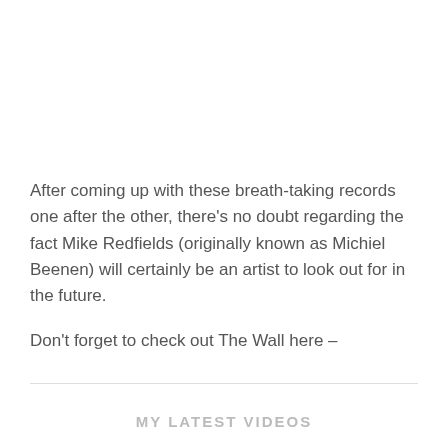After coming up with these breath-taking records one after the other, there's no doubt regarding the fact Mike Redfields (originally known as Michiel Beenen) will certainly be an artist to look out for in the future.
Don't forget to check out The Wall here –
MY LATEST VIDEOS